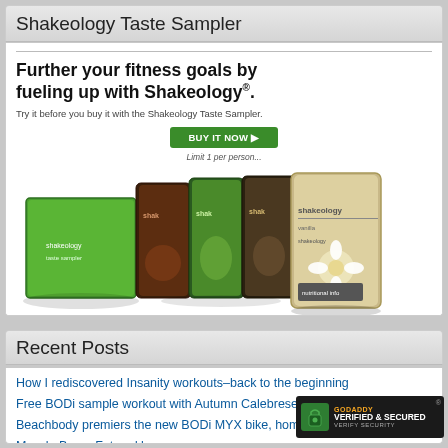Shakeology Taste Sampler
[Figure (photo): Shakeology product advertisement showing green box and multiple flavor sample packets, with headline 'Further your fitness goals by fueling up with Shakeology.' and a green BUY IT NOW button]
Recent Posts
How I rediscovered Insanity workouts–back to the beginning
Free BODi sample workout with Autumn Calebrese
Beachbody premiers the new BODi MYX bike, home fitness studio
Muscle Burns Fat and keeps you young
Stretching equals good health regardless o…
[Figure (logo): GoDaddy Verified & Secured badge]